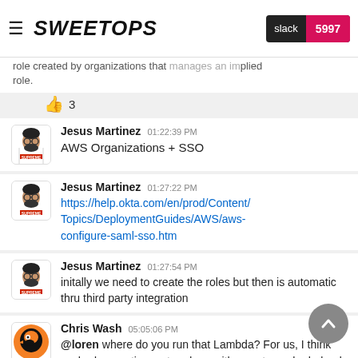SweetOps  slack 5997
role created by organizations that manages an implied role.
👍 3
Jesus Martinez  01:22:39 PM
AWS Organizations + SSO
Jesus Martinez  01:27:22 PM
https://help.okta.com/en/prod/Content/Topics/DeploymentGuides/AWS/aws-configure-saml-sso.htm
Jesus Martinez  01:27:54 PM
initally we need to create the roles but then is automatic thru third party integration
Chris Wash  05:05:06 PM
@loren where do you run that Lambda? For us, I think we had a one time setup done with a partner who helped us design our AWS org. They set this kind of stuff up initially from